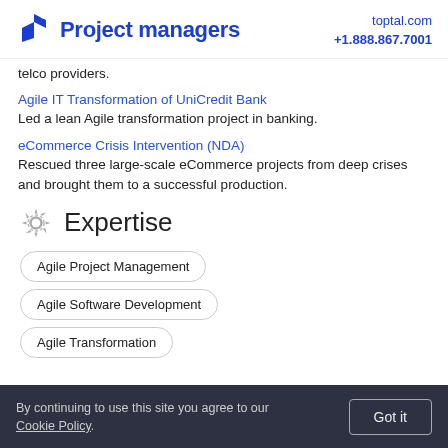Project managers | toptal.com +1.888.867.7001
telco providers.
Agile IT Transformation of UniCredit Bank
Led a lean Agile transformation project in banking.
eCommerce Crisis Intervention (NDA)
Rescued three large-scale eCommerce projects from deep crises and brought them to a successful production.
Expertise
Agile Project Management
Agile Software Development
Agile Transformation
By continuing to use this site you agree to our Cookie Policy.